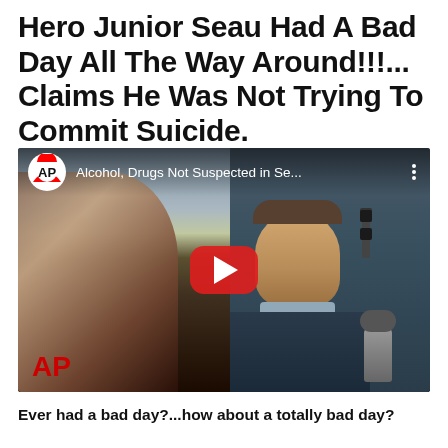Hero Junior Seau Had A Bad Day All The Way Around!!!... Claims He Was Not Trying To Commit Suicide.
[Figure (screenshot): YouTube video thumbnail from AP showing a man being interviewed outdoors, with microphones pointed at him. Video title overlay reads 'Alcohol, Drugs Not Suspected in Se...' AP logo visible top left and bottom left of video frame. Red YouTube play button in center.]
Ever had a bad day?...how about a totally bad day?